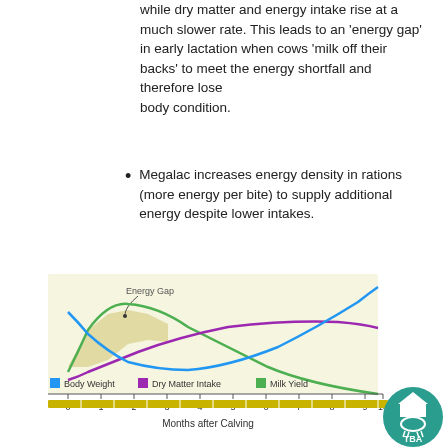while dry matter and energy intake rise at a much slower rate. This leads to an 'energy gap' in early lactation when cows 'milk off their backs' to meet the energy shortfall and therefore lose body condition.
Megalac increases energy density in rations (more energy per bite) to supply additional energy despite lower intakes.
[Figure (line-chart): Line chart showing Body Weight (blue), Dry Matter Intake (purple), and Milk Yield (green) over Months after Calving (0-10). An 'Energy Gap' region is highlighted in yellow-green shading between the Milk Yield and Dry Matter Intake curves in early lactation. Legend at bottom. TBA logo in bottom right.]